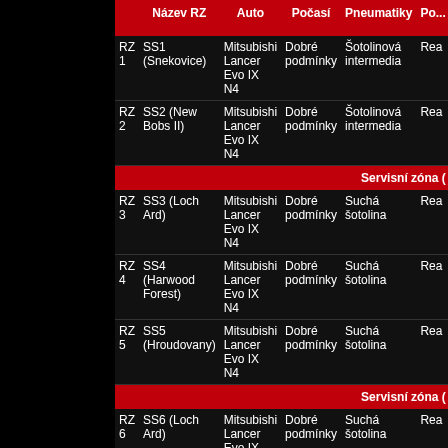|  | Název RZ | Auto | Počasí | Pneumatiky | Po... |
| --- | --- | --- | --- | --- | --- |
| RZ 1 | SS1 (Snekovice) | Mitsubishi Lancer Evo IX N4 | Dobré podmínky | Šotolinová intermedia | Rea... |
| RZ 2 | SS2 (New Bobs II) | Mitsubishi Lancer Evo IX N4 | Dobré podmínky | Šotolinová intermedia | Rea... |
| Servisní zóna ( |  |  |  |  |  |
| RZ 3 | SS3 (Loch Ard) | Mitsubishi Lancer Evo IX N4 | Dobré podmínky | Suchá šotolina | Rea... |
| RZ 4 | SS4 (Harwood Forest) | Mitsubishi Lancer Evo IX N4 | Dobré podmínky | Suchá šotolina | Rea... |
| RZ 5 | SS5 (Hroudovany) | Mitsubishi Lancer Evo IX N4 | Dobré podmínky | Suchá šotolina | Rea... |
| Servisní zóna ( |  |  |  |  |  |
| RZ 6 | SS6 (Loch Ard) | Mitsubishi Lancer Evo IX N4 | Dobré podmínky | Suchá šotolina | Rea... |